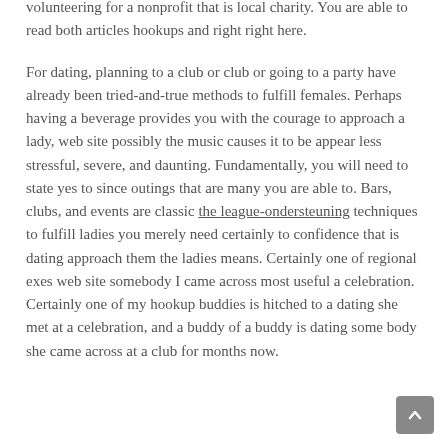volunteering for a nonprofit that is local charity. You are able to read both articles hookups and right right here.
For dating, planning to a club or club or going to a party have already been tried-and-true methods to fulfill females. Perhaps having a beverage provides you with the courage to approach a lady, web site possibly the music causes it to be appear less stressful, severe, and daunting. Fundamentally, you will need to state yes to since outings that are many you are able to. Bars, clubs, and events are classic the league-ondersteuning techniques to fulfill ladies you merely need certainly to confidence that is dating approach them the ladies means. Certainly one of regional exes web site somebody I came across most useful a celebration. Certainly one of my hookup buddies is hitched to a dating she met at a celebration, and a buddy of a buddy is dating some body she came across at a club for months now.